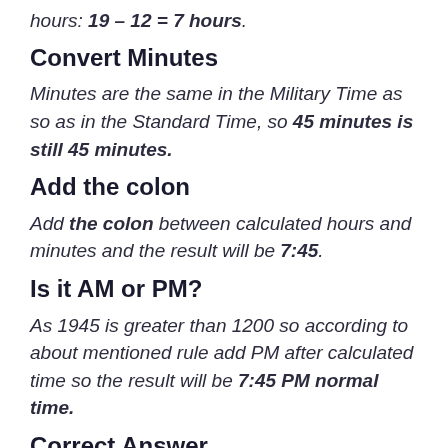hours: 19 – 12 = 7 hours.
Convert Minutes
Minutes are the same in the Military Time as so as in the Standard Time, so 45 minutes is still 45 minutes.
Add the colon
Add the colon between calculated hours and minutes and the result will be 7:45.
Is it AM or PM?
As 1945 is greater than 1200 so according to about mentioned rule add PM after calculated time so the result will be 7:45 PM normal time.
Correct Answer